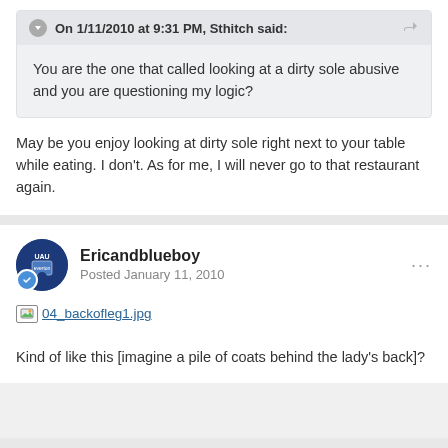On 1/11/2010 at 9:31 PM, Sthitch said:
You are the one that called looking at a dirty sole abusive and you are questioning my logic?
May be you enjoy looking at dirty sole right next to your table while eating. I don't. As for me, I will never go to that restaurant again.
Ericandblueboy
Posted January 11, 2010
[Figure (other): Broken image placeholder with filename link: 04_backofleg1.jpg]
Kind of like this [imagine a pile of coats behind the lady's back]?